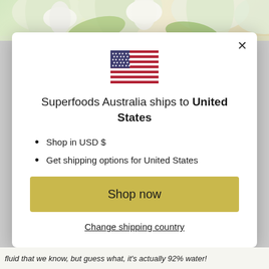[Figure (photo): White flowers background image at top of page]
[Figure (illustration): United States flag emoji/icon centered in modal]
Superfoods Australia ships to United States
Shop in USD $
Get shipping options for United States
Shop now
Change shipping country
fluid that we know, but guess what, it's actually 92% water!